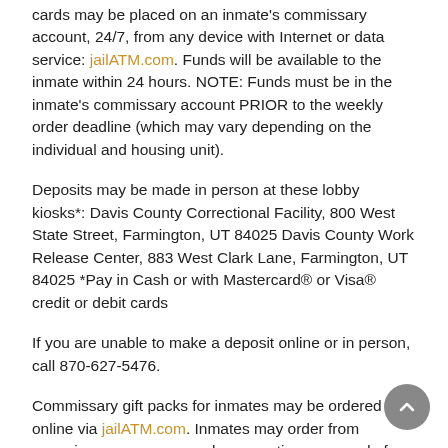cards may be placed on an inmate's commissary account, 24/7, from any device with Internet or data service: jailATM.com. Funds will be available to the inmate within 24 hours. NOTE: Funds must be in the inmate's commissary account PRIOR to the weekly order deadline (which may vary depending on the individual and housing unit).
Deposits may be made in person at these lobby kiosks*: Davis County Correctional Facility, 800 West State Street, Farmington, UT 84025 Davis County Work Release Center, 883 West Clark Lane, Farmington, UT 84025 *Pay in Cash or with Mastercard® or Visa® credit or debit cards
If you are unable to make a deposit online or in person, call 870-627-5476.
Commissary gift packs for inmates may be ordered online via jailATM.com. Inmates may order from commissary once per week—exceptions are made for weekends and legal holidays. Commissary includes snack foods, writing paper, stamped envelopes, toiletries, playing cards, greeting cards, art materials